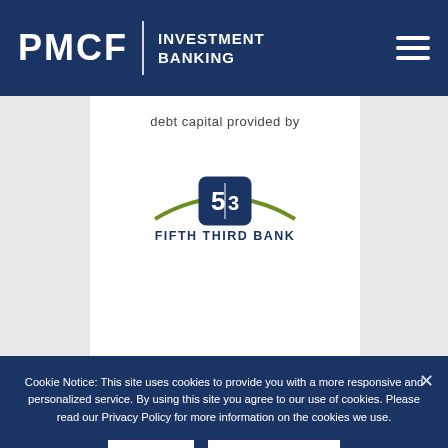PMCF | INVESTMENT BANKING
debt capital provided by
[Figure (logo): Fifth Third Bank logo: stylized 5/3 icon in a blue rounded square with a green arc, with 'FIFTH THIRD BANK' text in dark blue below]
Cookie Notice: This site uses cookies to provide you with a more responsive and personalized service. By using this site you agree to our use of cookies. Please read our Privacy Policy for more information on the cookies we use.